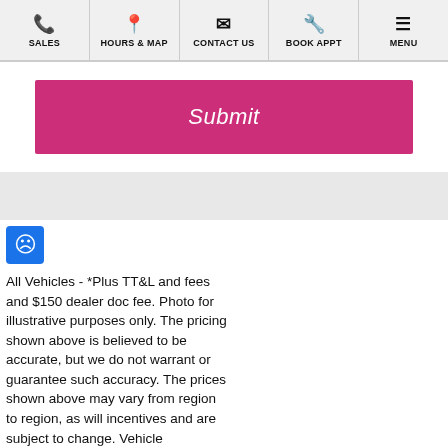SALES | HOURS & MAP | CONTACT US | BOOK APPT | MENU
[Figure (screenshot): Pink Submit button on a white background]
[Figure (screenshot): Gray separator section]
[Figure (screenshot): Blue accessibility icon with person symbol]
All Vehicles - *Plus TT&L and fees and $150 dealer doc fee. Photo for illustrative purposes only. The pricing shown above is believed to be accurate, but we do not warrant or guarantee such accuracy. The prices shown above may vary from region to region, as will incentives and are subject to change. Vehicle information is based off standard equipment and may vary from vehicle to vehicle. Call or email for complete vehicle specific information.
[Figure (screenshot): VALUE YOUR TRADE gray pill button]
[Figure (screenshot): Espanol and Chat gold pill buttons, Text black pill button]
SEARCH USED, CERTIFIED